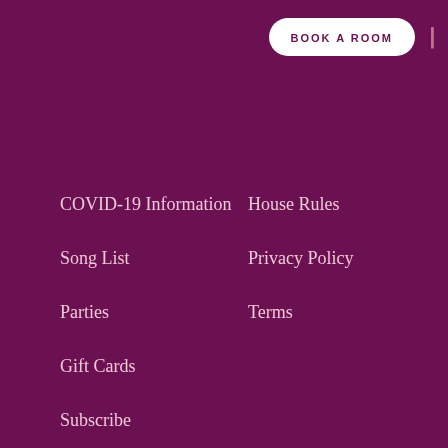BOOK A ROOM
COVID-19 Information
House Rules
Song List
Privacy Policy
Parties
Terms
Gift Cards
Subscribe